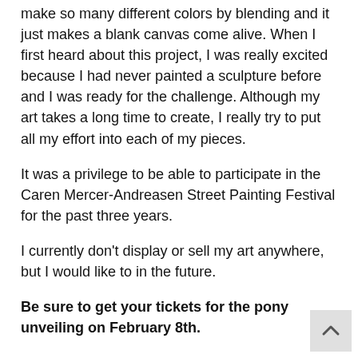make so many different colors by blending and it just makes a blank canvas come alive. When I first heard about this project, I was really excited because I had never painted a sculpture before and I was ready for the challenge. Although my art takes a long time to create, I really try to put all my effort into each of my pieces.
It was a privilege to be able to participate in the Caren Mercer-Andreasen Street Painting Festival for the past three years.
I currently don't display or sell my art anywhere, but I would like to in the future.
Be sure to get your tickets for the pony unveiling on February 8th.